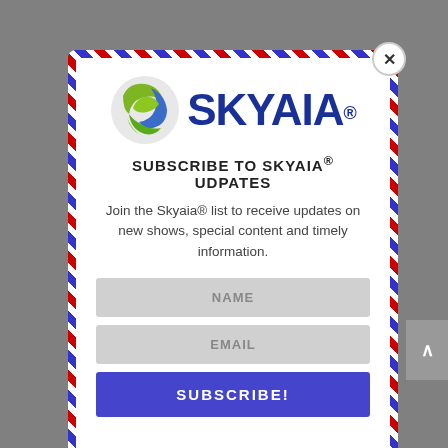[Figure (logo): Skyaia logo: green and blue globe-like icon with text SKYAIA in large dark blue letters with registered trademark symbol]
SUBSCRIBE TO SKYAIA® UDPATES
Join the Skyaia® list to receive updates on new shows, special content and timely information.